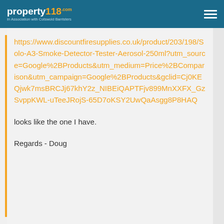property118 In Association with Cotswold Barristers
https://www.discountfiresupplies.co.uk/product/203/198/Solo-A3-Smoke-Detector-Tester-Aerosol-250ml?utm_source=Google%2BProducts&utm_medium=Price%2BComparison&utm_campaign=Google%2BProducts&gclid=Cj0KEQjwk7msBRCJj67khY2z_NIBEiQAPTFjv899MnXXFX_GzSvppKWL-uTeeJRojS-65D7oKSY2UwQaAsgg8P8HAQ
looks like the one I have.
Regards - Doug